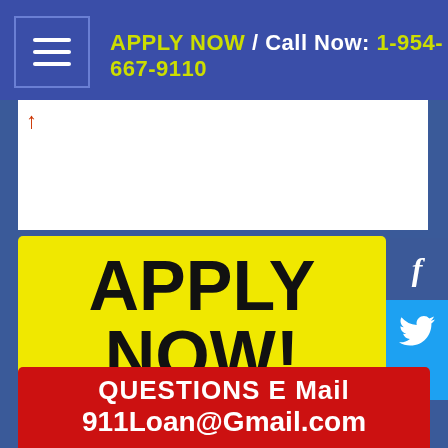APPLY NOW / Call Now: 1-954-667-9110
[Figure (screenshot): White content area with partial logo/image visible at top left]
APPLY NOW!
QUESTIONS?
QUESTIONS  E Mail
911Loan@Gmail.com